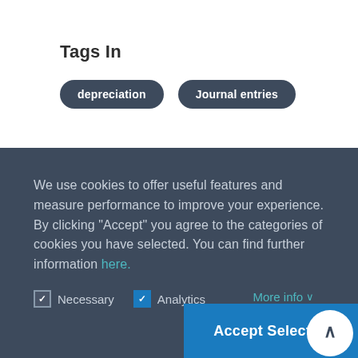Tags In
depreciation
Journal entries
We use cookies to offer useful features and measure performance to improve your experience. By clicking "Accept" you agree to the categories of cookies you have selected. You can find further information here.
Necessary  Analytics  More info
Accept Selected